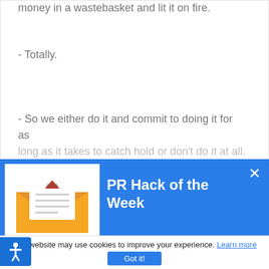money in a wastebasket and lit it on fire.
- Totally.
- So we either do it and commit to doing it for as long as it takes to catch hold or don't do it at all.
[Figure (screenshot): Blue modal popup titled 'PR Hack of the Week' with an envelope icon showing the AXIA logo, a close (x) button, and body text about a weekly PR tip resource. An accessibility icon is visible on the left side.]
Take advantage of our new resource: PR Hack of the Week.
Each week, we'll deliver a quick and free tip about news, social, and web media.
This website may use cookies to improve your experience. Learn more
Got it!